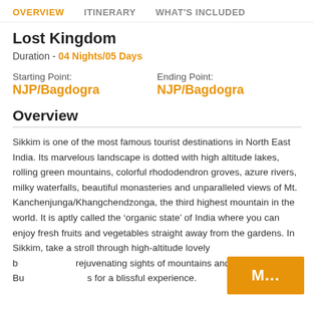OVERVIEW   ITINERARY   WHAT'S INCLUDED
Lost Kingdom
Duration - 04 Nights/05 Days
Starting Point: NJP/Bagdogra
Ending Point: NJP/Bagdogra
Overview
Sikkim is one of the most famous tourist destinations in North East India. Its marvelous landscape is dotted with high altitude lakes, rolling green mountains, colorful rhododendron groves, azure rivers, milky waterfalls, beautiful monasteries and unparalleled views of Mt. Kanchenjunga/Khangchendzonga, the third highest mountain in the world. It is aptly called the ‘organic state’ of India where you can enjoy fresh fruits and vegetables straight away from the gardens. In Sikkim, take a stroll through high-altitude lovely b... rejuvenating sights of mountains and visit the Bu... s for a blissful experience.